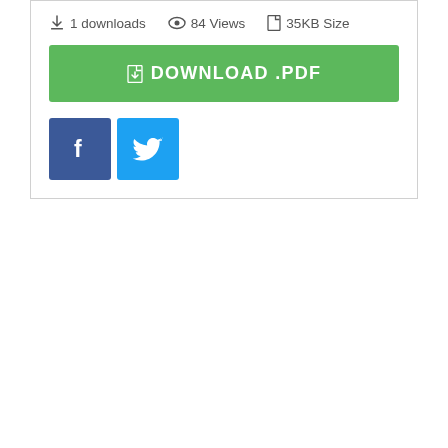1 downloads  84 Views  35KB Size
DOWNLOAD .PDF
[Figure (other): Facebook and Twitter social share buttons]